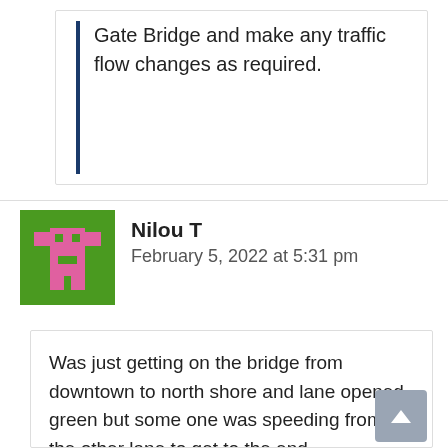the situation on and around the Lions Gate Bridge and make any traffic flow changes as required.
Nilou T
February 5, 2022 at 5:31 pm
[Figure (illustration): Pixel art avatar icon of a green and pink creature on a green background]
Was just getting on the bridge from downtown to north shore and lane opened green but some one was speeding from the other lane to get to the end.
Whoever checks the cameras should not have opened the lane as there were still cars coming that lane towards downtown.
Driving with kids in the car caused a lot of